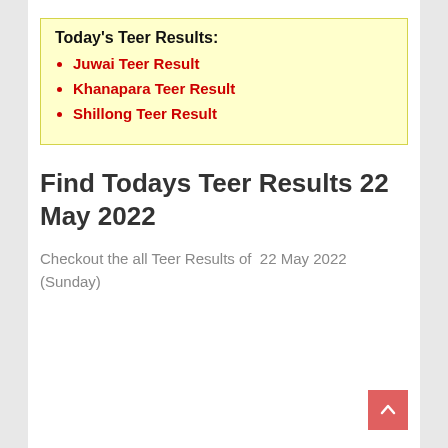Today's Teer Results:
Juwai Teer Result
Khanapara Teer Result
Shillong Teer Result
Find Todays Teer Results 22 May 2022
Checkout the all Teer Results of  22 May 2022 (Sunday)